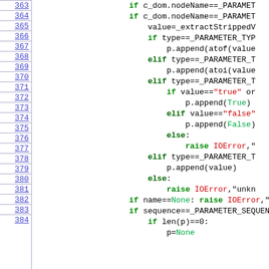[Figure (screenshot): Source code listing showing Python code with line numbers 363-384. Code shows conditional logic for parsing parameter types including float, int, bool, and string handling with IOError raises.]